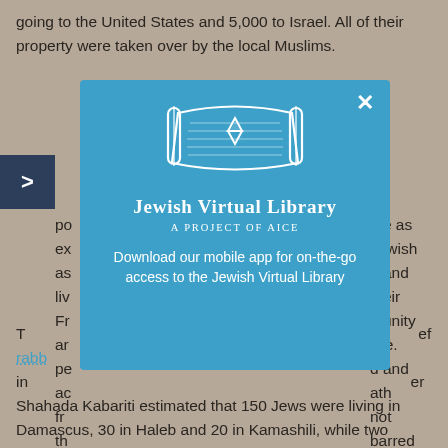going to the United States and 5,000 to Israel. All of their property were taken over by the local Muslims.
[Figure (logo): Jewish Virtual Library modal popup on blue (#3da0c8) background. Contains a Torah scroll illustration with Star of David, the text 'Jewish Virtual Library' in white serif font, subtitle 'A Project of Aice', and a call-to-action: 'Download our mobile app for on-the-go access to the Jewish Virtual Library'. A close (X) button appears in top-right corner.]
Shahada Kabariti estimated that 150 Jews were living in Damascus, 30 in Haleb and 20 in Kamashili, while two